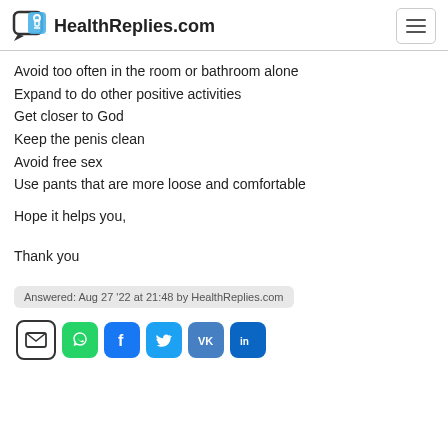HealthReplies.com
Avoid too often in the room or bathroom alone
Expand to do other positive activities
Get closer to God
Keep the penis clean
Avoid free sex
Use pants that are more loose and comfortable
Hope it helps you,
Thank you
Answered: Aug 27 '22 at 21:48 by HealthReplies.com
[Figure (other): Social sharing icons: email, WhatsApp, Facebook, Twitter, VK, LinkedIn]